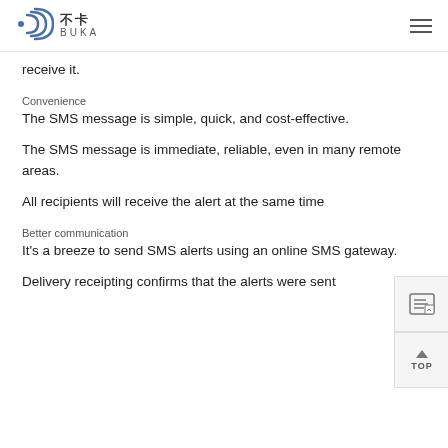不卡 BUKA
receive it.
Convenience
The SMS message is simple, quick, and cost-effective.
The SMS message is immediate, reliable, even in many remote areas.
All recipients will receive the alert at the same time
Better communication
It's a breeze to send SMS alerts using an online SMS gateway.
Delivery receipting confirms that the alerts were sent